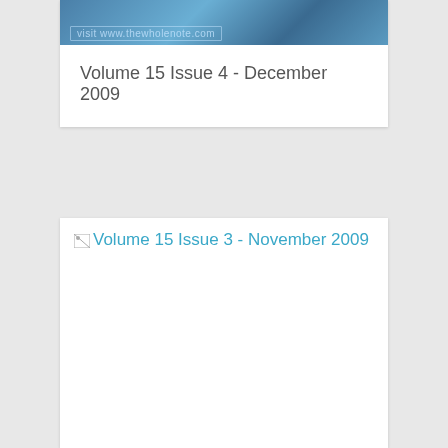[Figure (screenshot): Partial view of a magazine cover card for The Whole Note showing a blue textured background with 'visit www.thewholenote.com' watermark text]
Volume 15 Issue 4 - December 2009
Volume 15 Issue 3 - November 2009